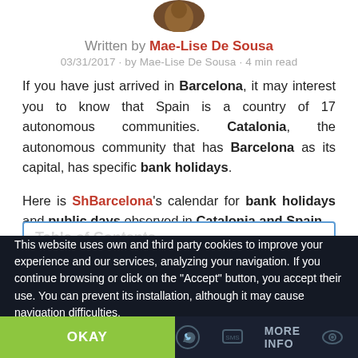[Figure (photo): Circular avatar photo of Mae-Lise De Sousa, partially cropped at top]
Written by Mae-Lise De Sousa
03/31/2017 · by Mae-Lise De Sousa · 4 min read
If you have just arrived in Barcelona, it may interest you to know that Spain is a country of 17 autonomous communities. Catalonia, the autonomous community that has Barcelona as its capital, has specific bank holidays.
Here is ShBarcelona's calendar for bank holidays and public days observed in Catalonia and Spain.
Table of Contents
This website uses own and third party cookies to improve your experience and our services, analyzing your navigation. If you continue browsing or click on the "Accept" button, you accept their use. You can prevent its installation, although it may cause navigation difficulties.